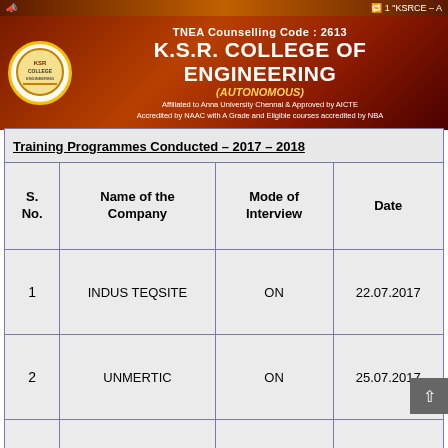TNEA Counselling Code : 2613 K.S.R. COLLEGE OF ENGINEERING (AUTONOMOUS) Affiliated to Anna University Chennai & Approved by AICTE Accredited by NAAC with A Grade and Eligible courses accredited by NBA
Training Programmes Conducted – 2017 – 2018
| S. No. | Name of the Company | Mode of Interview | Date |
| --- | --- | --- | --- |
| 1 | INDUS TEQSITE | ON | 22.07.2017 |
| 2 | UNMERTIC | ON | 25.07.2017 |